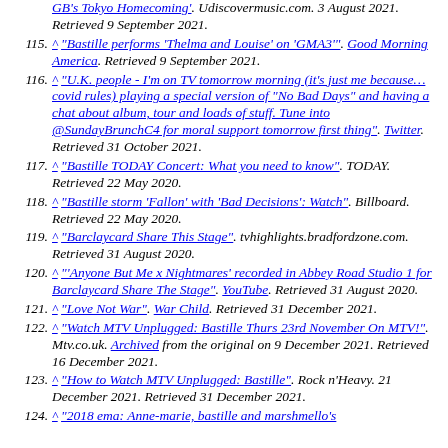(partial top) GB's Tokyo Homecoming'. Udiscovermusic.com. 3 August 2021. Retrieved 9 September 2021.
115. ^ "Bastille performs 'Thelma and Louise' on 'GMA3'". Good Morning America. Retrieved 9 September 2021.
116. ^ "U.K. people - I'm on TV tomorrow morning (it's just me because… covid rules) playing a special version of "No Bad Days" and having a chat about album, tour and loads of stuff. Tune into @SundayBrunchC4 for moral support tomorrow first thing". Twitter. Retrieved 31 October 2021.
117. ^ "Bastille TODAY Concert: What you need to know". TODAY. Retrieved 22 May 2020.
118. ^ "Bastille storm 'Fallon' with 'Bad Decisions': Watch". Billboard. Retrieved 22 May 2020.
119. ^ "Barclaycard Share This Stage". tvhighlights.bradfordzone.com. Retrieved 31 August 2020.
120. ^ "'Anyone But Me x Nightmares' recorded in Abbey Road Studio 1 for Barclaycard Share The Stage". YouTube. Retrieved 31 August 2020.
121. ^ "Love Not War". War Child. Retrieved 31 December 2021.
122. ^ "Watch MTV Unplugged: Bastille Thurs 23rd November On MTV!". Mtv.co.uk. Archived from the original on 9 December 2021. Retrieved 16 December 2021.
123. ^ "How to Watch MTV Unplugged: Bastille". Rock n'Heavy. 21 December 2021. Retrieved 31 December 2021.
124. ^ "2018 ema: Anne-marie, bastille and marshmello's ... MTV. Retrieved 31 M...